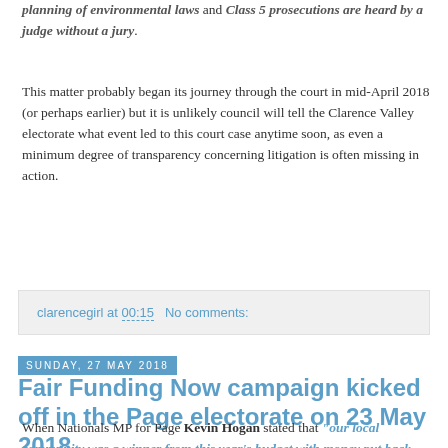planning of environmental laws and Class 5 prosecutions are heard by a judge without a jury.
This matter probably began its journey through the court in mid-April 2018 (or perhaps earlier) but it is unlikely council will tell the Clarence Valley electorate what event led to this court case anytime soon, as even a minimum degree of transparency concerning litigation is often missing in action.
clarencegirl at 00:15   No comments:
Sunday, 27 May 2018
Fair Funding Now campaign kicked off in the Page electorate on 23 May 2018
When Nationals MP for Page Kevin Hogan stated that "our local community was a winner from this year's budget with money put back into family budgets, the creation of